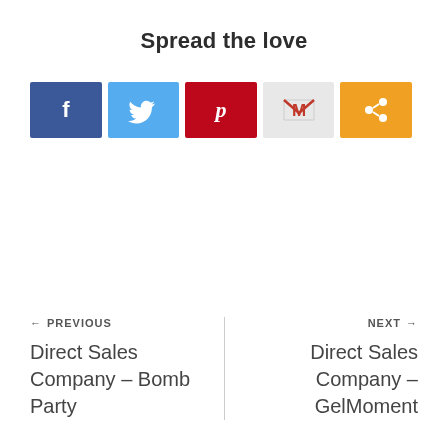Spread the love
[Figure (infographic): Row of 5 social share buttons: Facebook (blue, f icon), Twitter (light blue, bird icon), Pinterest (red, P icon), Gmail (light gray, M icon), Share (orange, share icon)]
← PREVIOUS
Direct Sales Company – Bomb Party
NEXT →
Direct Sales Company – GelMoment